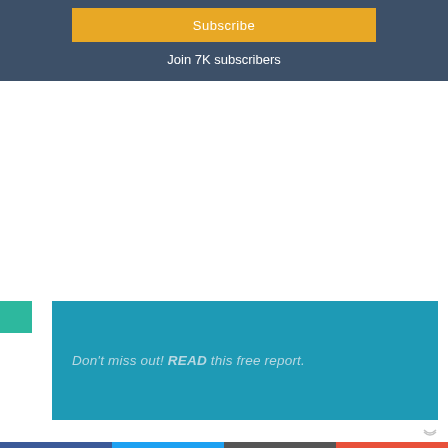Subscribe
Join 7K subscribers
Don't miss out!  READ this free report.
[Figure (infographic): Social sharing bar with Facebook, Twitter, email, and more buttons]